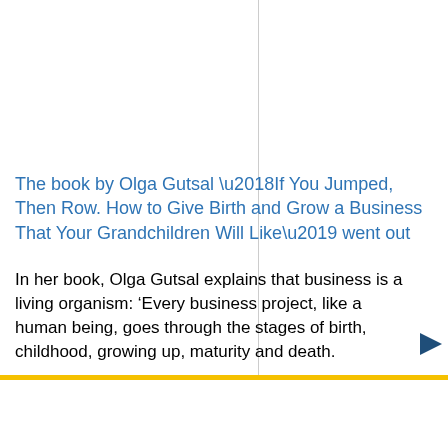The book by Olga Gutsal ‘If You Jumped, Then Row. How to Give Birth and Grow a Business That Your Grandchildren Will Like’ went out
In her book, Olga Gutsal explains that business is a living organism: ‘Every business project, like a human being, goes through the stages of birth, childhood, growing up, maturity and death.